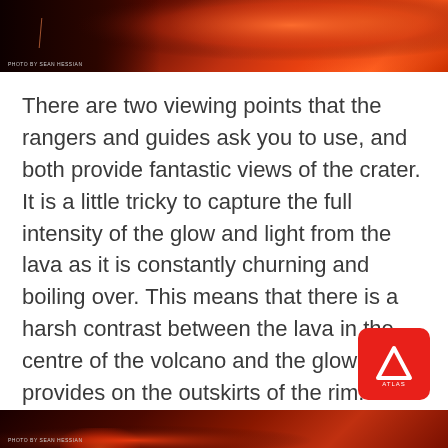[Figure (photo): Dark reddish-orange volcanic glow photo at the top of the page with a photo credit caption reading 'PHOTO by SEAN HESSIAN']
There are two viewing points that the rangers and guides ask you to use, and both provide fantastic views of the crater. It is a little tricky to capture the full intensity of the glow and light from the lava as it is constantly churning and boiling over. This means that there is a harsh contrast between the lava in the centre of the volcano and the glow that it provides on the outskirts of the rim.
[Figure (logo): Red rounded square button with a white upward-pointing lambda/caret symbol logo in the bottom right corner]
[Figure (photo): Dark volcanic lava glow photo at the bottom of the page with a photo credit caption reading 'PHOTO by SEAN HESSIAN']